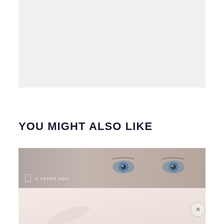[Figure (photo): Light gray placeholder image block at top of page]
YOU MIGHT ALSO LIKE
[Figure (photo): Card with two-part image: left side muted gray-pink background with bookmark icon and '6 YEARS AGO' label, right side close-up of a person's eyes with blue-gray irises. Below is a partial second image with a pink-white background.]
6 YEARS AGO